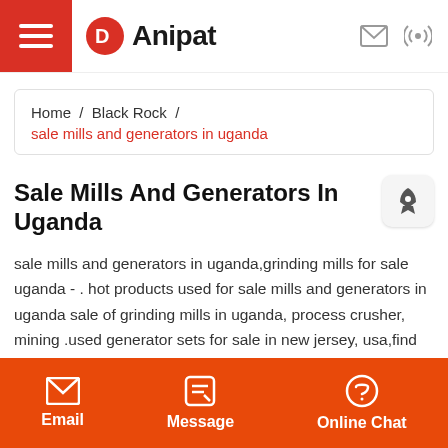Anipat
Home / Black Rock / sale mills and generators in uganda
Sale Mills And Generators In Uganda
sale mills and generators in uganda,grinding mills for sale uganda - . hot products used for sale mills and generators in uganda sale of grinding mills in uganda, process crusher, mining .used generator sets for sale in new jersey, usa,find diesel, natural gas and portable generators on
Email  Message  Online Chat